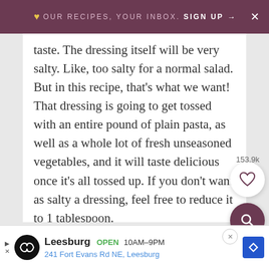♥ OUR RECIPES, YOUR INBOX. SIGN UP → ×
taste. The dressing itself will be very salty. Like, too salty for a normal salad. But in this recipe, that's what we want! That dressing is going to get tossed with an entire pound of plain pasta, as well as a whole lot of fresh unseasoned vegetables, and it will taste delicious once it's all tossed up. If you don't want as salty a dressing, feel free to reduce it to 1 tablespoon.
153.9k
[Figure (other): Heart/favorite button (white circle) and search button (dark purple circle) floating on gray background]
[Figure (other): Ad bar: Leesburg OPEN 10AM-9PM, 241 Fort Evans Rd NE, Leesburg]